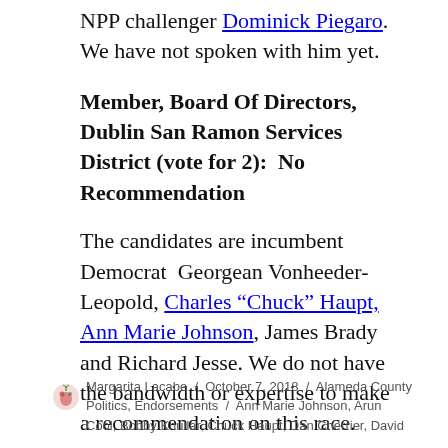NPP challenger Dominick Piegaro.  We have not spoken with him yet.
Member, Board Of Directors, Dublin San Ramon Services District (vote for 2):  No Recommendation
The candidates are incumbent Democrat  Georgean Vonheeder-Leopold, Charles “Chuck” Haupt, Ann Marie Johnson, James Brady and Richard Jesse. We do not have the bandwidth or expertise to make a recommendation on this race.
Margarita Lacabe / October 7, 2018 / Alameda County Politics, Endorsements / Ann Marie Johnson, Arun Cool, Bobby Khullar, Chuck Haupt, Dan Cherrier, David